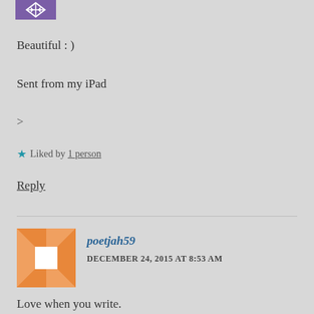[Figure (logo): Purple avatar icon with white arrows/diamond shape]
Beautiful : )
Sent from my iPad
>
★ Liked by 1 person
Reply
[Figure (logo): Orange and white quilt-pattern avatar for poetjah59]
poetjah59
DECEMBER 24, 2015 AT 8:53 AM
Love when you write.